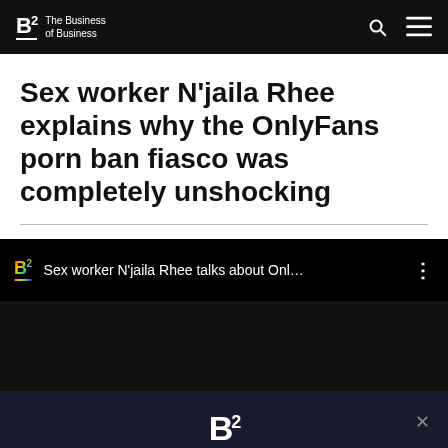B2 The Business of Business
Sex worker N'jaila Rhee explains why the OnlyFans porn ban fiasco was completely unshocking
[Figure (screenshot): Video player bar showing B2 logo in rainbow gradient and text: Sex worker N'jaila Rhee talks about Onl... with three-dot menu icon]
Enter your email address
Subscribe